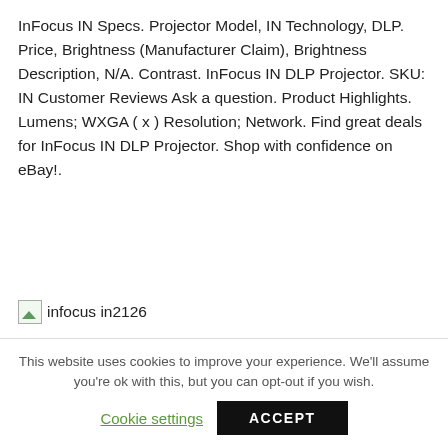InFocus IN Specs. Projector Model, IN Technology, DLP. Price, Brightness (Manufacturer Claim), Brightness Description, N/A. Contrast. InFocus IN DLP Projector. SKU: IN Customer Reviews Ask a question. Product Highlights. Lumens; WXGA ( x ) Resolution; Network. Find great deals for InFocus IN DLP Projector. Shop with confidence on eBay!.
[Figure (photo): Small broken/placeholder image icon labeled 'infocus in2126']
| Author: | Akinolkree Malanris |
| Country: | Uzbekistan |
This website uses cookies to improve your experience. We'll assume you're ok with this, but you can opt-out if you wish. Cookie settings ACCEPT